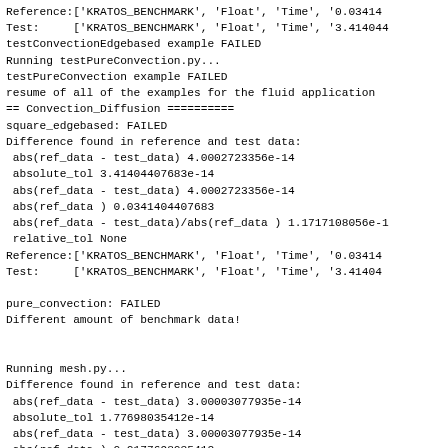Reference:['KRATOS_BENCHMARK', 'Float', 'Time', '0.03414...
Test:     ['KRATOS_BENCHMARK', 'Float', 'Time', '3.414044...
testConvectionEdgebased example FAILED
Running testPureConvection.py...
testPureConvection example FAILED
resume of all of the examples for the fluid application
== Convection_Diffusion ==========
square_edgebased: FAILED
Difference found in reference and test data:
 abs(ref_data - test_data) 4.0002723356e-14
 absolute_tol 3.41404407683e-14
 abs(ref_data - test_data) 4.0002723356e-14
 abs(ref_data ) 0.0341404407683
 abs(ref_data - test_data)/abs(ref_data ) 1.1717108056e-1
 relative_tol None
Reference:['KRATOS_BENCHMARK', 'Float', 'Time', '0.03414...
Test:     ['KRATOS_BENCHMARK', 'Float', 'Time', '3.41404...

pure_convection: FAILED
Different amount of benchmark data!


Running mesh.py...
Difference found in reference and test data:
 abs(ref_data - test_data) 3.00003077935e-14
 absolute_tol 1.77698035412e-14
 abs(ref_data - test_data) 3.00003077935e-14
 abs(ref_data ) 0.0177698035412
 abs(ref_data - test_data)/abs(ref_data ) 1.68827459032e-
 relative_tol None
Reference:['KRATOS_BENCHMARK', 'Float', 'Difference in x...